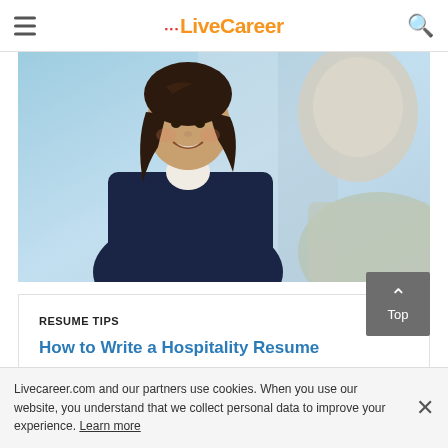LiveCareer
[Figure (photo): A smiling woman in a dark business suit with white blouse, photographed from the front, with another person visible from behind in the foreground, suggesting a job interview or professional meeting. Background is light blue/teal.]
RESUME TIPS
How to Write a Hospitality Resume
Livecareer.com and our partners use cookies. When you use our website, you understand that we collect personal data to improve your experience. Learn more